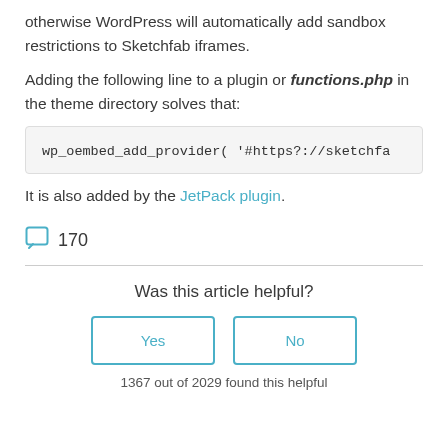otherwise WordPress will automatically add sandbox restrictions to Sketchfab iframes.
Adding the following line to a plugin or functions.php in the theme directory solves that:
It is also added by the JetPack plugin.
170
Was this article helpful?
Yes
No
1367 out of 2029 found this helpful